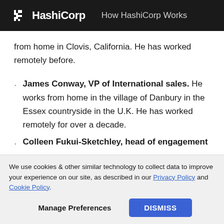HashiCorp — How HashiCorp Works
from home in Clovis, California. He has worked remotely before.
James Conway, VP of International sales. He works from home in the village of Danbury in the Essex countryside in the U.K. He has worked remotely for over a decade.
Colleen Fukui-Sketchley, head of engagement
We use cookies & other similar technology to collect data to improve your experience on our site, as described in our Privacy Policy and Cookie Policy.
Manage Preferences   DISMISS